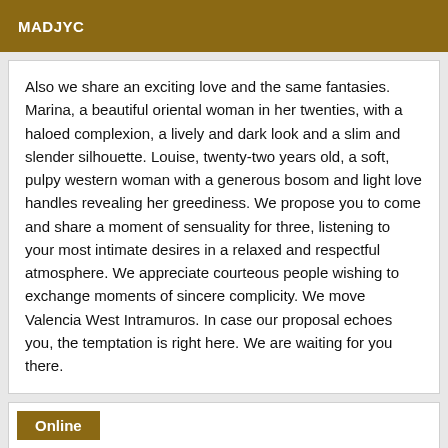MADJYC
Also we share an exciting love and the same fantasies. Marina, a beautiful oriental woman in her twenties, with a haloed complexion, a lively and dark look and a slim and slender silhouette. Louise, twenty-two years old, a soft, pulpy western woman with a generous bosom and light love handles revealing her greediness. We propose you to come and share a moment of sensuality for three, listening to your most intimate desires in a relaxed and respectful atmosphere. We appreciate courteous people wishing to exchange moments of sincere complicity. We move Valencia West Intramuros. In case our proposal echoes you, the temptation is right here. We are waiting for you there.
Online